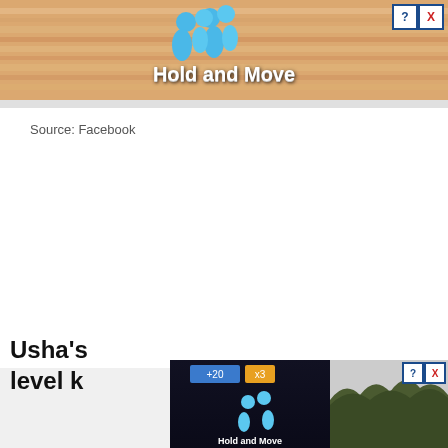[Figure (screenshot): Advertisement banner at top showing a mobile game 'Hold and Move' with blue cartoon figures on a sandy/wooden background, with close (X) and help (?) buttons in top right]
Source: Facebook
[Figure (screenshot): Second advertisement banner at bottom showing 'Hold and Move' game with blue figures on dark background, alongside a nature/forest photo, with close (X) and help (?) buttons]
Usha's
level k